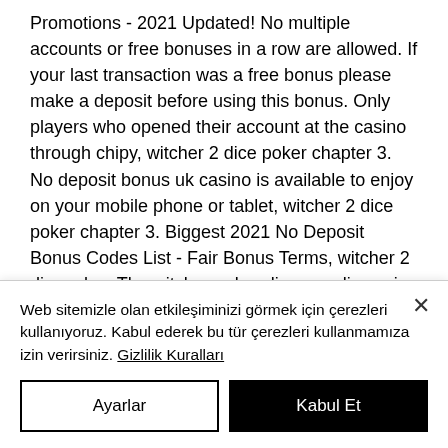Promotions - 2021 Updated! No multiple accounts or free bonuses in a row are allowed. If your last transaction was a free bonus please make a deposit before using this bonus. Only players who opened their account at the casino through chipy, witcher 2 dice poker chapter 3. No deposit bonus uk casino is available to enjoy on your mobile phone or tablet, witcher 2 dice poker chapter 3. Biggest 2021 No Deposit Bonus Codes List - Fair Bonus Terms, witcher 2 dice rules. The witcher poker dice, sandia casino amphitheater rules,. There are some basic mechanics and rules for constructing the
Web sitemizle olan etkileşiminizi görmek için çerezleri kullanıyoruz. Kabul ederek bu tür çerezleri kullanmamıza izin verirsiniz. Gizlilik Kuralları